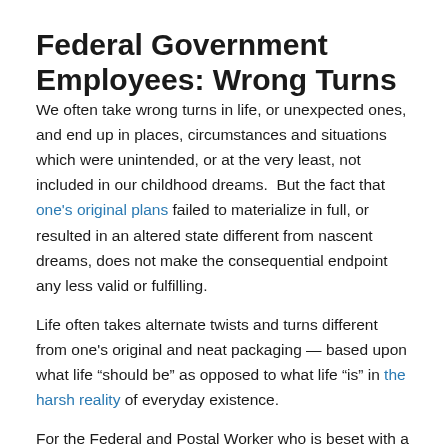Federal Government Employees: Wrong Turns
We often take wrong turns in life, or unexpected ones, and end up in places, circumstances and situations which were unintended, or at the very least, not included in our childhood dreams.  But the fact that one's original plans failed to materialize in full, or resulted in an altered state different from nascent dreams, does not make the consequential endpoint any less valid or fulfilling.
Life often takes alternate twists and turns different from one's original and neat packaging — based upon what life “should be” as opposed to what life “is” in the harsh reality of everyday existence.
For the Federal and Postal Worker who is beset with a